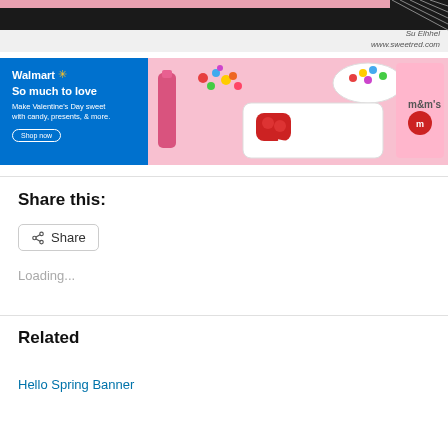[Figure (screenshot): Partial top image showing dark/black horizontal bar with pink background — cropped blog post image, with handwritten-style signature 'Su Elhhel' and URL 'www.sweetred.com']
[Figure (photo): Walmart advertisement banner. Left side: blue background with 'Walmart' logo (star icon), tagline 'So much to love', subtext 'Make Valentine's Day sweet with candy, presents, & more.', 'Shop now' button. Right side: pink background showing candy tubes, scattered M&M candies, red wireless earbuds with case, M&Ms branded bag.]
Share this:
Share
Loading...
Related
Hello Spring Banner